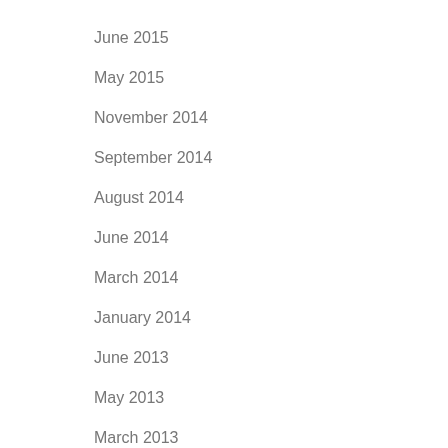June 2015
May 2015
November 2014
September 2014
August 2014
June 2014
March 2014
January 2014
June 2013
May 2013
March 2013
February 2013
December 2012
October 2012